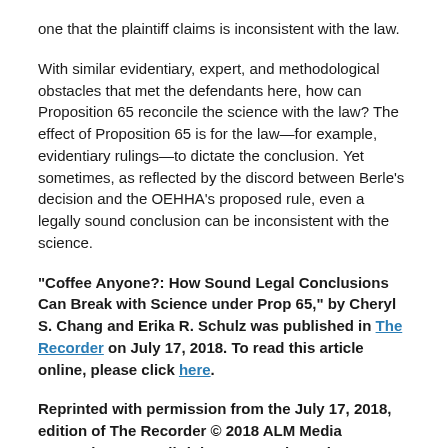one that the plaintiff claims is inconsistent with the law.
With similar evidentiary, expert, and methodological obstacles that met the defendants here, how can Proposition 65 reconcile the science with the law? The effect of Proposition 65 is for the law—for example, evidentiary rulings—to dictate the conclusion. Yet sometimes, as reflected by the discord between Berle's decision and the OEHHA's proposed rule, even a legally sound conclusion can be inconsistent with the science.
"Coffee Anyone?: How Sound Legal Conclusions Can Break with Science under Prop 65," by Cheryl S. Chang and Erika R. Schulz was published in The Recorder on July 17, 2018. To read this article online, please click here.
Reprinted with permission from the July 17, 2018, edition of The Recorder © 2018 ALM Media Properties, LLC. All rights reserved. Further duplication without permission is prohibited. For information, contact